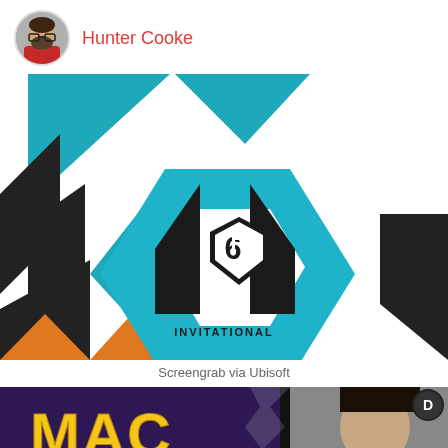Hunter Cooke
[Figure (illustration): R6 Invitational logo graphic with colorful geometric hexagonal shapes in teal, black, orange, and red, with a central hexagon containing the Rainbow Six Invitational shield logo]
Screengrab via Ubisoft
[Figure (photo): Bottom banner image showing 'MAC' text in golden letters on dark background with a person's face on the right and a circular 'D' logo]